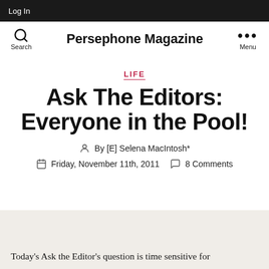Log In
Persephone Magazine
LIFE
Ask The Editors: Everyone in the Pool!
By [E] Selena MacIntosh*
Friday, November 11th, 2011   8 Comments
Today's Ask the Editor's question is time sensitive for